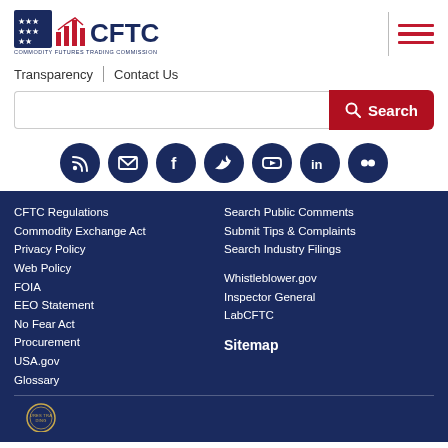[Figure (logo): CFTC Commodity Futures Trading Commission logo with stars and bar chart icon]
[Figure (other): Hamburger menu icon with three red horizontal lines and a vertical separator line]
Transparency
Contact Us
Search
[Figure (other): Social media icons row: RSS, Email, Facebook, Twitter, YouTube, LinkedIn, Flickr]
CFTC Regulations
Commodity Exchange Act
Privacy Policy
Web Policy
FOIA
EEO Statement
No Fear Act
Procurement
USA.gov
Glossary
Search Public Comments
Submit Tips & Complaints
Search Industry Filings
Whistleblower.gov
Inspector General
LabCFTC
Sitemap
[Figure (logo): CFTC seal partial, circular gold/blue seal at bottom of page]